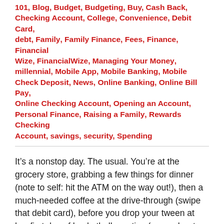101, Blog, Budget, Budgeting, Buy, Cash Back, Checking Account, College, Convenience, Debit Card, debt, Family, Family Finance, Fees, Finance, Financial Wize, FinancialWize, Managing Your Money, millennial, Mobile App, Mobile Banking, Mobile Check Deposit, News, Online Banking, Online Bill Pay, Online Checking Account, Opening an Account, Personal Finance, Raising a Family, Rewards Checking Account, savings, security, Spending
It’s a nonstop day. The usual. You’re at the grocery store, grabbing a few things for dinner (note to self: hit the ATM on the way out!), then a much-needed coffee at the drive-through (swipe that debit card), before you drop your tween at her first day of basketball practice (remember to bring your checkbook). Phew. And you’re only halfway done.
In the middle of it all, you certainly don’t want the nagging feeling that you can’t access your money at a moment’s notice, that you’re missing spending